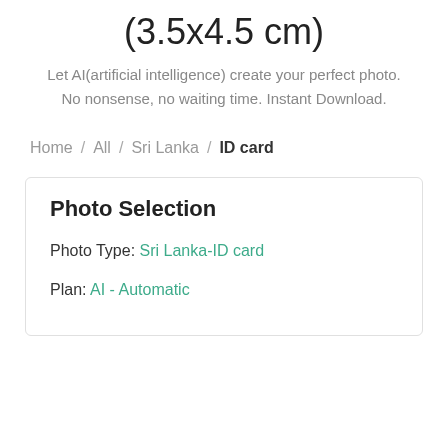(3.5x4.5 cm)
Let AI(artificial intelligence) create your perfect photo. No nonsense, no waiting time. Instant Download.
Home / All / Sri Lanka / ID card
Photo Selection
Photo Type: Sri Lanka-ID card
Plan: AI - Automatic